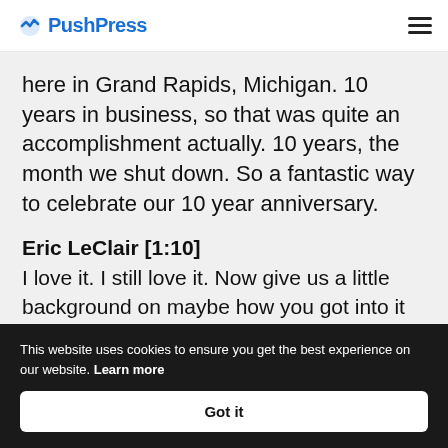PushPress
here in Grand Rapids, Michigan. 10 years in business, so that was quite an accomplishment actually. 10 years, the month we shut down. So a fantastic way to celebrate our 10 year anniversary.
Eric LeClair [1:10]
I love it. I still love it. Now give us a little background on maybe how you got into it 10 years ago.
This website uses cookies to ensure you get the best experience on our website. Learn more
Got it